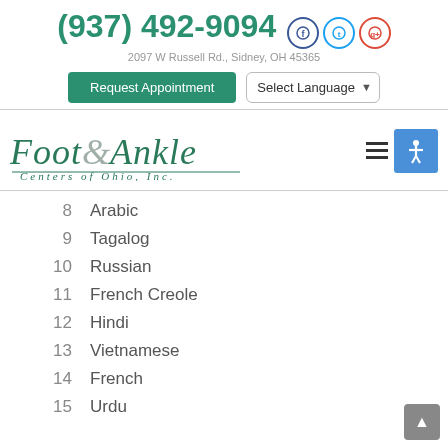(937) 492-9094   2097 W Russell Rd., Sidney, OH 45365
Request Appointment   Select Language
[Figure (logo): Foot & Ankle Centers of Ohio, Inc. logo in italic green serif font]
8  Arabic
9  Tagalog
10  Russian
11  French Creole
12  Hindi
13  Vietnamese
14  French
15  Urdu